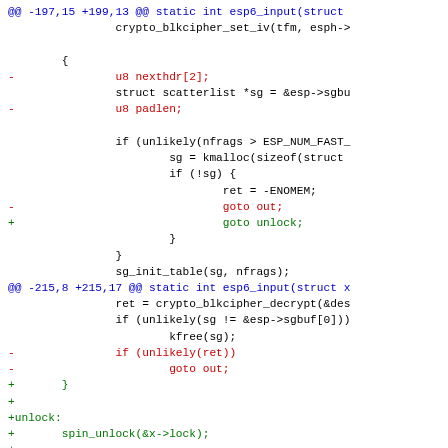[Figure (other): A unified diff (patch) code snippet showing changes to esp6_input function in a C source file. Lines with @@ are diff hunk headers in blue, lines starting with - are removals in red, lines starting with + are additions in green, and unchanged lines are in black monospace.]